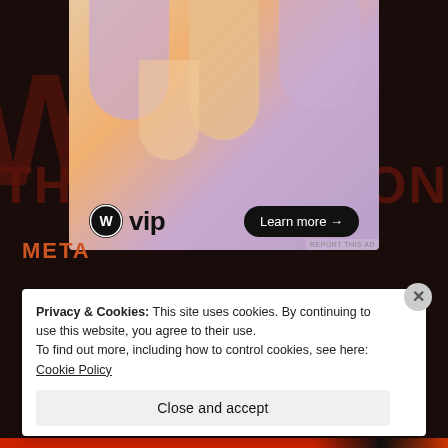[Figure (illustration): WordPress VIP advertisement banner with abstract colorful arch shapes in lavender and orange gradient. Shows WordPress circle logo with 'vip' text and a 'Learn more →' button. Has 'REPORT THIS AD' label at bottom right.]
META
Register
Privacy & Cookies: This site uses cookies. By continuing to use this website, you agree to their use.
To find out more, including how to control cookies, see here: Cookie Policy
Close and accept